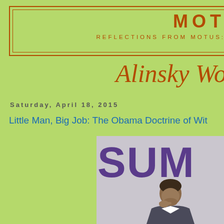MOT
REFLECTIONS FROM MOTUS:
Alinsky Wo
Saturday, April 18, 2015
Little Man, Big Job: The Obama Doctrine of Wit
[Figure (photo): A man in a suit with head bowed and hands clasped, in front of a large SUMMIT sign with purple letters on a light grey background]